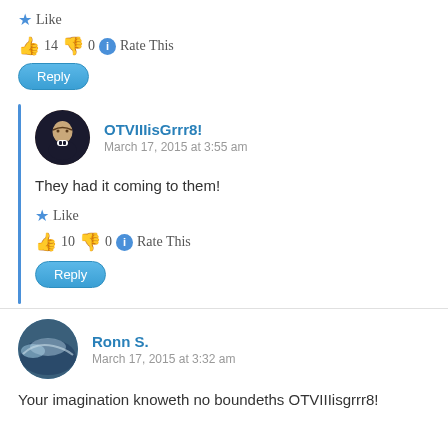★ Like
👍 14 👎 0 ℹ Rate This
Reply
OTVIIIisGrrr8!
March 17, 2015 at 3:55 am
They had it coming to them!
★ Like
👍 10 👎 0 ℹ Rate This
Reply
Ronn S.
March 17, 2015 at 3:32 am
Your imagination knoweth no boundeths OTVIIIisgrrr8!